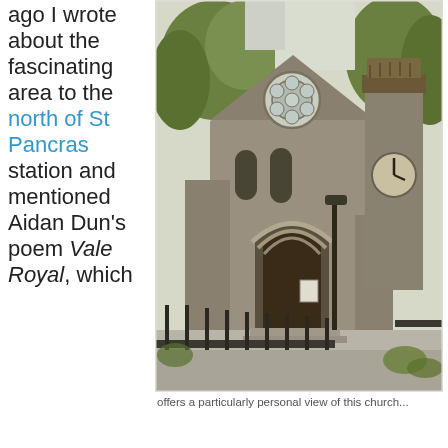ago I wrote about the fascinating area to the north of St Pancras station and mentioned Aidan Dun's poem Vale Royal, which
[Figure (photo): Photograph of a stone church with a round rose window, arched doorway, and a clock tower visible to the right, surrounded by trees and iron railings.]
offers a particularly personal view of this church...